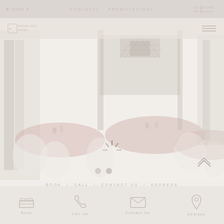MENU  CONTATTI  PRENOTAZIONI  LEADING HOTELS
[Figure (screenshot): Hotel website screenshot showing a faded/loading hero image of a hotel dining room with pink tablecloths and ornate decor, with navigation bars and bottom icon bar]
BOOK / CALL / CONTACT US / ADDRESS